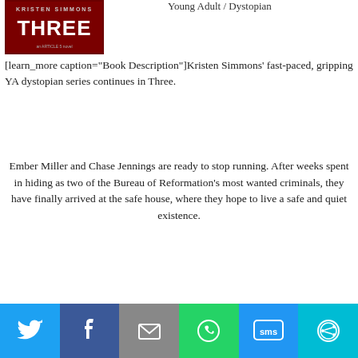[Figure (photo): Book cover for 'THREE' by Kristen Simmons — dark red/black cover with large text 'THREE' and author name]
Young Adult / Dystopian
[learn_more caption="Book Description"]Kristen Simmons' fast-paced, gripping YA dystopian series continues in Three.
Ember Miller and Chase Jennings are ready to stop running. After weeks spent in hiding as two of the Bureau of Reformation's most wanted criminals, they have finally arrived at the safe house, where they hope to live a safe and quiet existence.
[Figure (infographic): Social sharing bar with Twitter, Facebook, Email, WhatsApp, SMS, and More buttons]